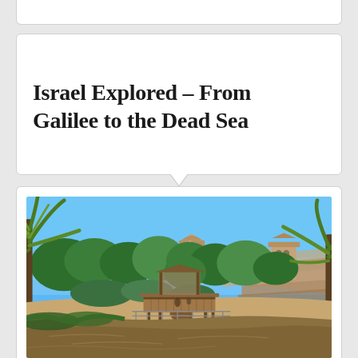Israel Explored – From Galilee to the Dead Sea
[Figure (photo): Outdoor photo of a baptism site on the Jordan River with a wooden dock/platform over muddy brown water, surrounded by palm trees and lush green vegetation, with a stone church featuring a cross and a bell tower visible in the background under a clear blue sky.]